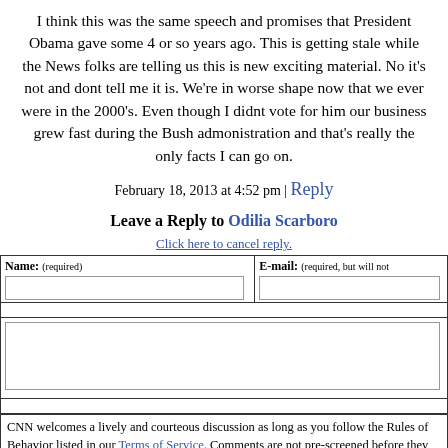I think this was the same speech and promises that President Obama gave some 4 or so years ago. This is getting stale while the News folks are telling us this is new exciting material. No it's not and dont tell me it is. We're in worse shape now that we ever were in the 2000's. Even though I didnt vote for him our business grew fast during the Bush admonistration and that's really the only facts I can go on.
February 18, 2013 at 4:52 pm | Reply
Leave a Reply to Odilia Scarboro
Click here to cancel reply.
| Name: (required) | E-mail: (required, but will not be published) |
| --- | --- |
|  |   |
CNN welcomes a lively and courteous discussion as long as you follow the Rules of Behavior listed in our Terms of Service. Comments are not pre-screened before they post. You agree that anything you post may be used, along with your name and profile picture, in accordance with our Privacy Policy and the license you have granted pursuant to our Terms of Service.